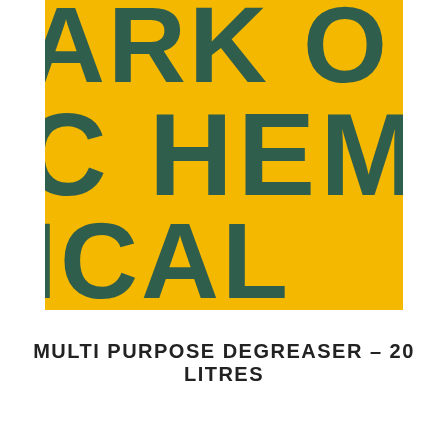[Figure (photo): Close-up of a yellow product container/drum with large dark teal/green bold text showing partial brand name 'CHEM' (and partial letters above), on a bright yellow textured background. The label is partially cropped showing three rows of large letters.]
MULTI PURPOSE DEGREASER - 20 LITRES